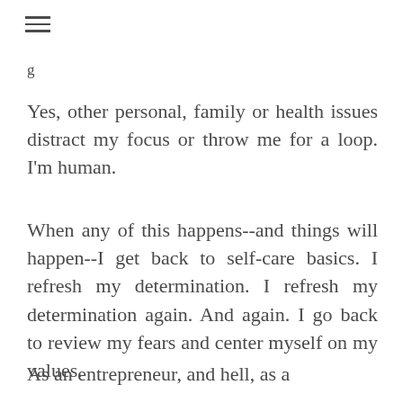g
Yes, other personal, family or health issues distract my focus or throw me for a loop. I'm human.
When any of this happens--and things will happen--I get back to self-care basics. I refresh my determination. I refresh my determination again. And again. I go back to review my fears and center myself on my values.
As an entrepreneur, and hell, as a human, the best strategy is the